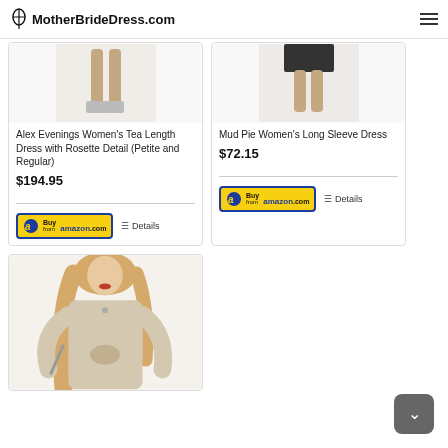MotherBrideDress.com
[Figure (photo): Bottom half of a woman wearing a dress, showing legs and heels — product image for Alex Evenings dress]
Alex Evenings Women's Tea Length Dress with Rosette Detail (Petite and Regular)
$194.95
[Figure (logo): Buy from amazon.com button]
Details
[Figure (photo): Bottom half of a woman in a black dress — product image for Mud Pie Women's Long Sleeve Dress]
Mud Pie Women's Long Sleeve Dress
$72.15
[Figure (logo): Buy from amazon.com button]
Details
[Figure (photo): Woman with long blonde hair wearing a beige long-sleeve tie-front cardigan top — third product image]